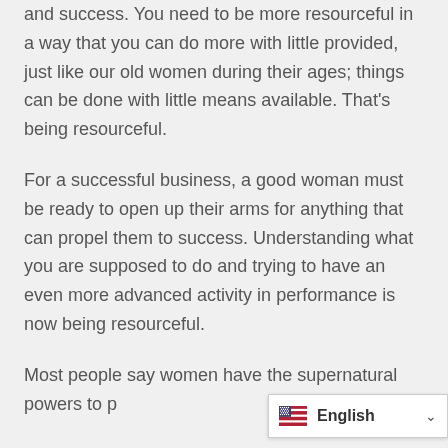and success. You need to be more resourceful in a way that you can do more with little provided, just like our old women during their ages; things can be done with little means available. That's being resourceful.
For a successful business, a good woman must be ready to open up their arms for anything that can propel them to success. Understanding what you are supposed to do and trying to have an even more advanced activity in performance is now being resourceful.
Most people say women have the supernatural powers to p… This title calls all responsible wom…